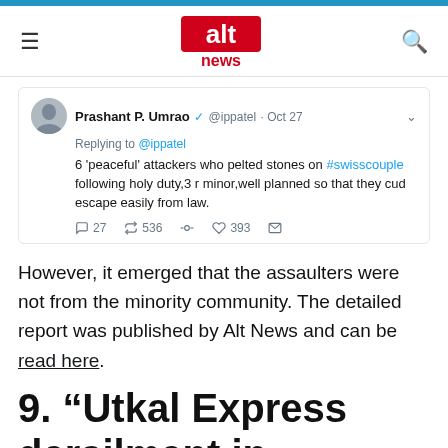Alt News
[Figure (screenshot): Tweet by Prashant P. Umrao (@ippatel) Oct 27, replying to @ippatel: 6 'peaceful' attackers who pelted stones on #swisscouple following holy duty,3 r minor,well planned so that they cud escape easily from law. 27 replies, 536 retweets, 393 likes]
However, it emerged that the assaulters were not from the minority community. The detailed report was published by Alt News and can be read here.
9. “Utkal Express derailment in Muzaffarnagar was a terrorist ploy to kill Hindu